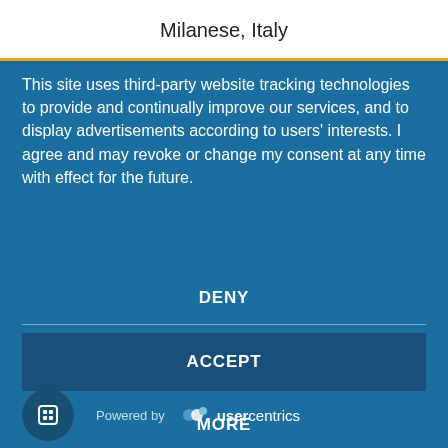Milanese, Italy
This site uses third-party website tracking technologies to provide and continually improve our services, and to display advertisements according to users' interests. I agree and may revoke or change my consent at any time with effect for the future.
DENY
ACCEPT
MORE
Powered by usercentrics